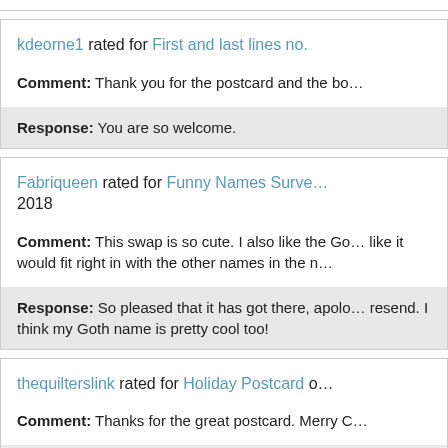kdeorne1 rated for First and last lines no.
Comment: Thank you for the postcard and the bo...
Response: You are so welcome.
Fabriqueen rated for Funny Names Survey... 2018
Comment: This swap is so cute. I also like the Go... like it would fit right in with the other names in the n...
Response: So pleased that it has got there, apolo... resend. I think my Goth name is pretty cool too!
thequilterslink rated for Holiday Postcard o...
Comment: Thanks for the great postcard. Merry C...
Response: You are welcome